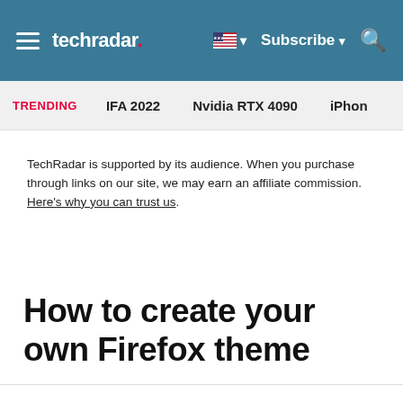techradar | Subscribe
TRENDING   IFA 2022   Nvidia RTX 4090   iPhon
TechRadar is supported by its audience. When you purchase through links on our site, we may earn an affiliate commission. Here's why you can trust us.
How to create your own Firefox theme